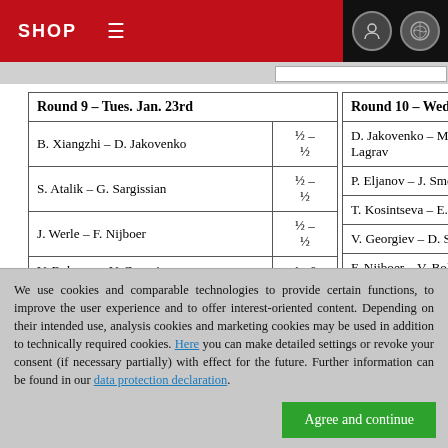SHOP
| Round 9 – Tues. Jan. 23rd |  |
| --- | --- |
| B. Xiangzhi – D. Jakovenko | ½–½ |
| S. Atalik – G. Sargissian | ½–½ |
| J. Werle – F. Nijboer | ½–½ |
| V. Bologan – V. Georgiev | 1–0 |
| Round 10 – Wed. Jan. 24th |  |
| --- | --- |
| D. Jakovenko – M. Vachier-Lagrav |  |
| P. Eljanov – J. Smeets |  |
| T. Kosintseva – E. L'Ami |  |
| V. Georgiev – D. Stellwagen |  |
| F. Nijboer – V. Bologan |  |
We use cookies and comparable technologies to provide certain functions, to improve the user experience and to offer interest-oriented content. Depending on their intended use, analysis cookies and marketing cookies may be used in addition to technically required cookies. Here you can make detailed settings or revoke your consent (if necessary partially) with effect for the future. Further information can be found in our data protection declaration.